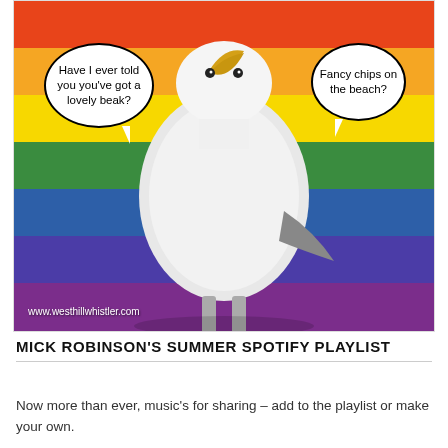[Figure (illustration): A seagull with comic speech bubbles standing in front of a rainbow pride flag background. Left bubble: 'Have I ever told you you've got a lovely beak?' Right bubble: 'Fancy chips on the beach?' Watermark: www.westhillwhistler.com]
MICK ROBINSON'S SUMMER SPOTIFY PLAYLIST
Now more than ever, music's for sharing – add to the playlist or make your own.